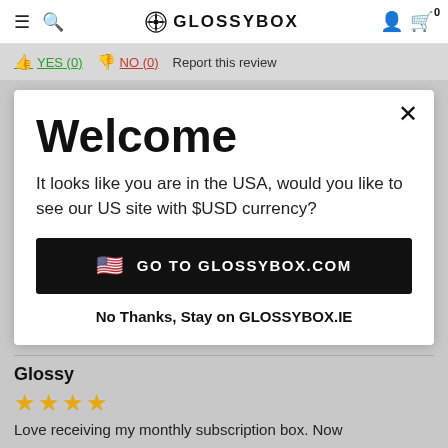GLOSSYBOX
YES (0)   NO (0)   Report this review
Welcome
It looks like you are in the USA, would you like to see our US site with $USD currency?
GO TO GLOSSYBOX.COM
No Thanks, Stay on GLOSSYBOX.IE
Glossy
★★★★
Love receiving my monthly subscription box. Now